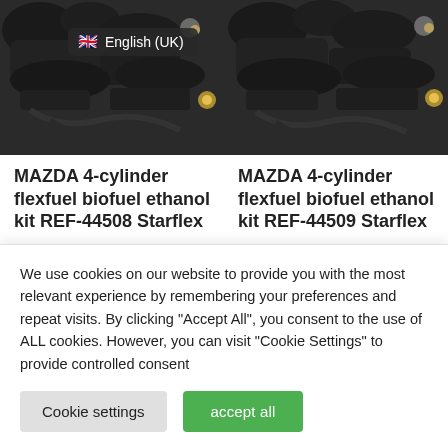[Figure (photo): Two dark engine component photos side by side (MAZDA flexfuel kit parts), left one has an English (UK) language selector badge overlaid]
MAZDA 4-cylinder flexfuel biofuel ethanol kit REF-44508 Starflex
For vehicle: MAZDA
Number of cylinders: 4
MAZDA 4-cylinder flexfuel biofuel ethanol kit REF-44509 Starflex
For vehicle: MAZDA
Number of cylinders: 4
We use cookies on our website to provide you with the most relevant experience by remembering your preferences and repeat visits. By clicking "Accept All", you consent to the use of ALL cookies. However, you can visit "Cookie Settings" to provide controlled consent
Cookie settings
accept all